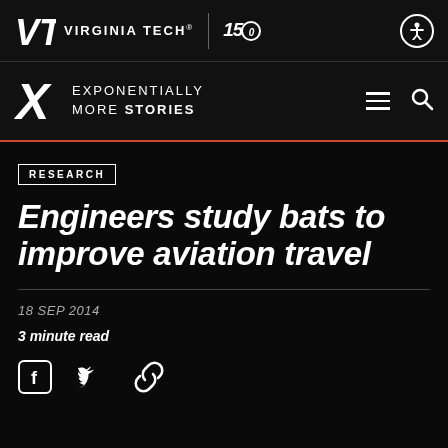Virginia Tech — Exponentially More Stories
RESEARCH
Engineers study bats to improve aviation travel
18 SEP 2014
3 minute read